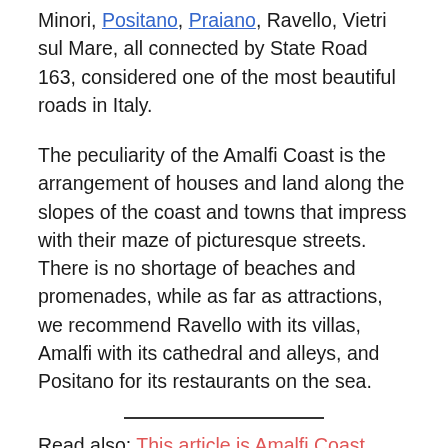Minori, Positano, Praiano, Ravello, Vietri sul Mare, all connected by State Road 163, considered one of the most beautiful roads in Italy.
The peculiarity of the Amalfi Coast is the arrangement of houses and land along the slopes of the coast and towns that impress with their maze of picturesque streets. There is no shortage of beaches and promenades, while as far as attractions, we recommend Ravello with its villas, Amalfi with its cathedral and alleys, and Positano for its restaurants on the sea.
Read also: This article is Amalfi Coast...